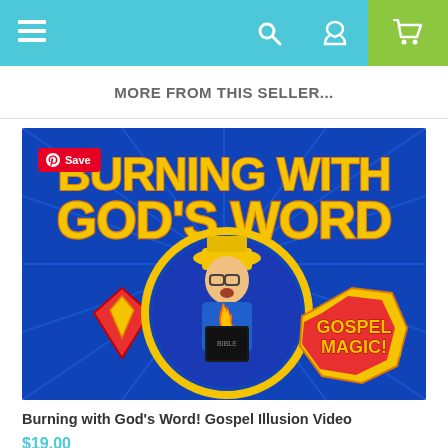Navigation bar with menu, search, account, and cart icons
MORE FROM THIS SELLER...
[Figure (illustration): Comic book style promotional image for 'Burning with God's Word! Gospel Illusion Video' showing a man dressed as a firefighter with a yellow hat and glasses, holding a Bible with flames coming from it, set against a blue burst background. Text reads 'BURNING WITH GOD'S WORD' in large yellow outlined letters, and 'GOSPEL MAGIC!' in the bottom right. A Superman-style diamond logo is on the left. Pinterest 'Save' button overlaid in top-left corner.]
Burning with God's Word! Gospel Illusion Video
$19.00